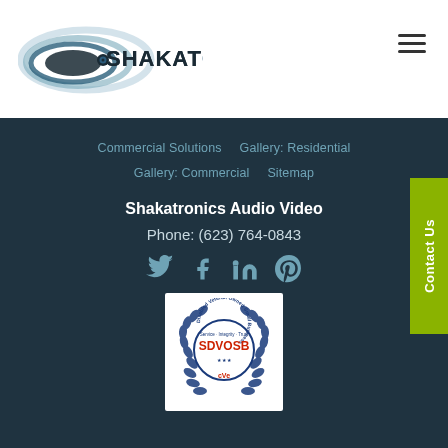[Figure (logo): Shakatronics logo with oval swoosh design and company name text]
Commercial Solutions    Gallery: Residential    Gallery: Commercial    Sitemap
Shakatronics Audio Video
Phone:  (623) 764-0843
[Figure (illustration): Social media icons: Twitter, Facebook, LinkedIn, Pinterest]
[Figure (logo): SDVOSB - Service Disabled Veteran Owned Small Business - CVE certification badge]
Contact Us